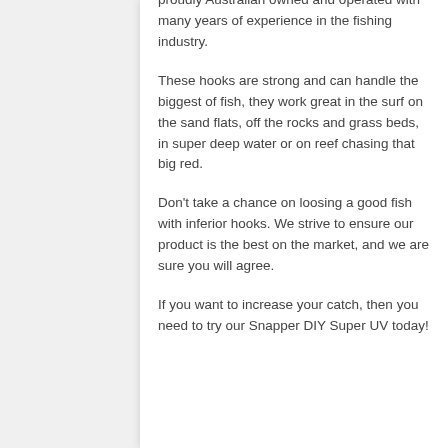proudly Australian owned and operated with many years of experience in the fishing industry.
These hooks are strong and can handle the biggest of fish, they work great in the surf on the sand flats, off the rocks and grass beds, in super deep water or on reef chasing that big red.
Don't take a chance on loosing a good fish with inferior hooks. We strive to ensure our product is the best on the market, and we are sure you will agree.
If you want to increase your catch, then you need to try our Snapper DIY Super UV today!